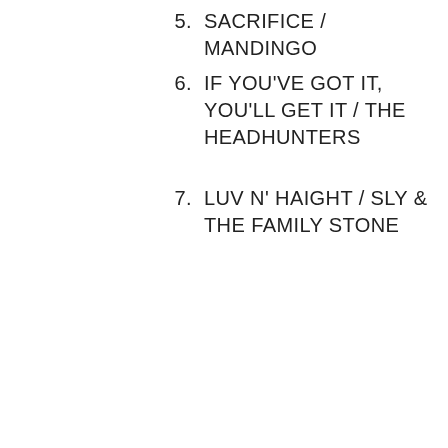5.  SACRIFICE / MANDINGO
6.  IF YOU'VE GOT IT, YOU'LL GET IT / THE HEADHUNTERS
7.  LUV N' HAIGHT / SLY & THE FAMILY STONE
⁇FUNK 041⁇
[Figure (photo): A blurred dark photograph showing multiple album covers or artistic images with dark, moody tones of black, grey and red/crimson colors.]